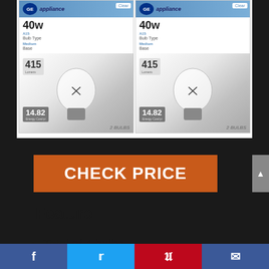[Figure (photo): Two GE Appliance 40W A15 Clear bulb packages side by side, each containing 2 bulbs. Blue header packaging showing 415 lumens, 14.82 equivalent, Medium Base.]
CHECK PRICE
Feature
Total of 4 bulbs
Facebook | Twitter | Pinterest | Email social share bar